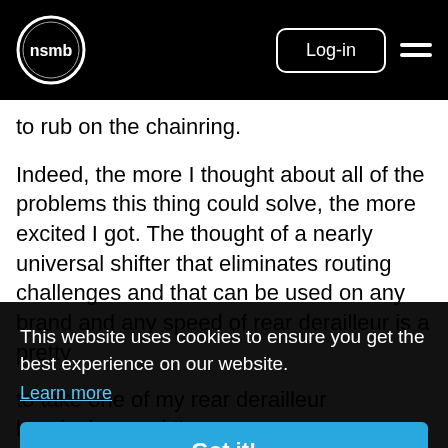NSMB | Log-in
to rub on the chainring.
Indeed, the more I thought about all of the problems this thing could solve, the more excited I got. The thought of a nearly universal shifter that eliminates routing challenges and that can be used on any brand and any speed of rear derailleur is a pretty [...]
This website uses cookies to ensure you get the best experience on our website.
Learn more
Got it!
to take one of my rear derailleur headaches and I'm